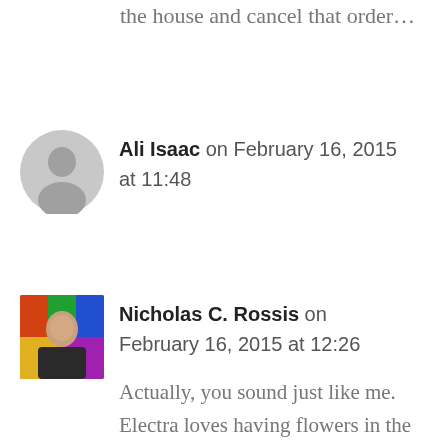the house and cancel that order...
Ali Isaac on February 16, 2015 at 11:48
[Figure (illustration): Gray circular avatar placeholder with silhouette of a person]
Nicholas C. Rossis on February 16, 2015 at 12:26
[Figure (photo): Profile photo of Nicholas C. Rossis, a man in a dark jacket against a colorful background]
Actually, you sound just like me. Electra loves having flowers in the house, but I always nag her when she cuts them from our garden. Although I say nothing when